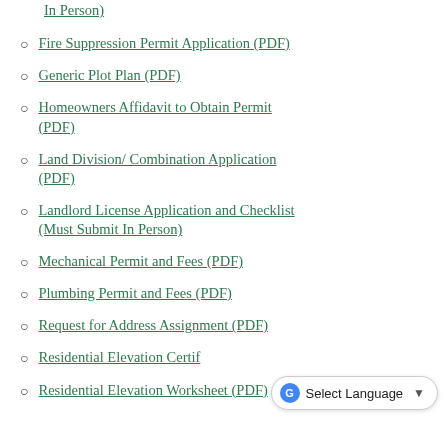In Person)
Fire Suppression Permit Application (PDF)
Generic Plot Plan (PDF)
Homeowners Affidavit to Obtain Permit (PDF)
Land Division/ Combination Application (PDF)
Landlord License Application and Checklist (Must Submit In Person)
Mechanical Permit and Fees (PDF)
Plumbing Permit and Fees (PDF)
Request for Address Assignment (PDF)
Residential Elevation Certif…
Residential Elevation Worksheet (PDF)